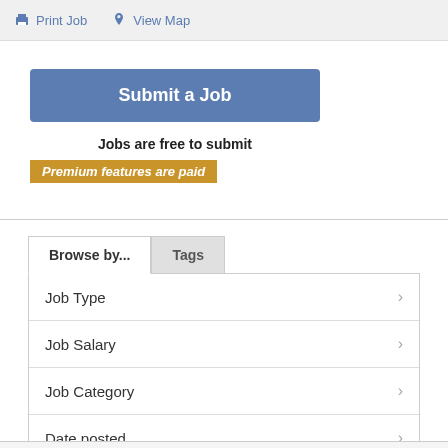Print Job   View Map
Submit a Job
Jobs are free to submit
Premium features are paid
Browse by...   Tags
Job Type
Job Salary
Job Category
Date posted